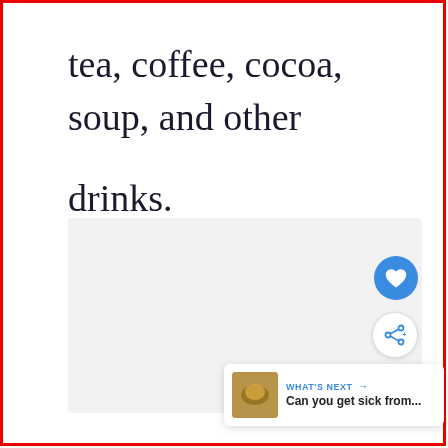tea, coffee, cocoa, soup, and other drinks.
[Figure (other): Light grey rectangular image placeholder area]
[Figure (other): Blue circular heart/like button icon]
[Figure (other): White circular share button icon]
WHAT'S NEXT → Can you get sick from...